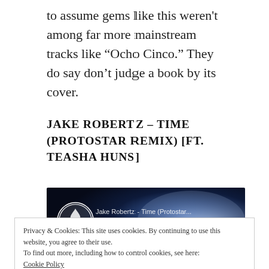to assume gems like this weren't among far more mainstream tracks like “Ocho Cinco.” They do say don’t judge a book by its cover.
JAKE ROBERTZ – TIME (PROTOSTAR REMIX) [FT. TEASHA HUNS]
[Figure (screenshot): Video thumbnail showing Jake Robertz - Time (Protostar...) with the text JAKE ROBERTZ TIME overlaid on a dark blue smoky background with a white/red player bar at the bottom. A flame logo icon is visible on the left.]
Privacy & Cookies: This site uses cookies. By continuing to use this website, you agree to their use.
To find out more, including how to control cookies, see here:
Cookie Policy
Close and accept
Talk about some melodic drum ’n bass, you